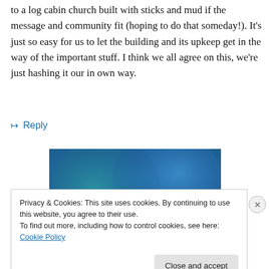to a log cabin church built with sticks and mud if the message and community fit (hoping to do that someday!). It's just so easy for us to let the building and its upkeep get in the way of the important stuff. I think we all agree on this, we're just hashing it our in own way.
↳ Reply
[Figure (illustration): Blue gradient abstract image, overlapping circles in teal and blue tones]
Privacy & Cookies: This site uses cookies. By continuing to use this website, you agree to their use.
To find out more, including how to control cookies, see here: Cookie Policy
Close and accept